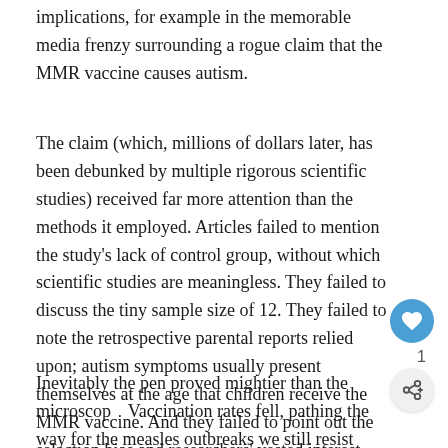implications, for example in the memorable media frenzy surrounding a rogue claim that the MMR vaccine causes autism.
The claim (which, millions of dollars later, has been debunked by multiple rigorous scientific studies) received far more attention than the methods it employed. Articles failed to mention the study's lack of control group, without which scientific studies are meaningless. They failed to discuss the tiny sample size of 12. They failed to note the retrospective parental reports relied upon; autism symptoms usually present themselves at the age that children receive the MMR vaccine. And they failed to point out the selection bias and researchers' vested interest.
Inevitably the pen proved mightier than the microscope. Vaccination rates fell, pathing the way for the measles outbreaks we still resist today. Vaccination rates in...